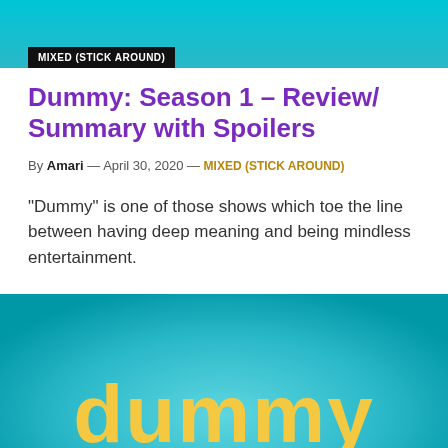MIXED (STICK AROUND)
Dummy: Season 1 – Review/ Summary with Spoilers
By Amari — April 30, 2020 — MIXED (STICK AROUND)
“Dummy” is one of those shows which toe the line between having deep meaning and being mindless entertainment.
[Figure (logo): Teal/cyan gradient background with the word 'dummy' written in large yellow rounded lowercase letters, serving as a TV show title card.]